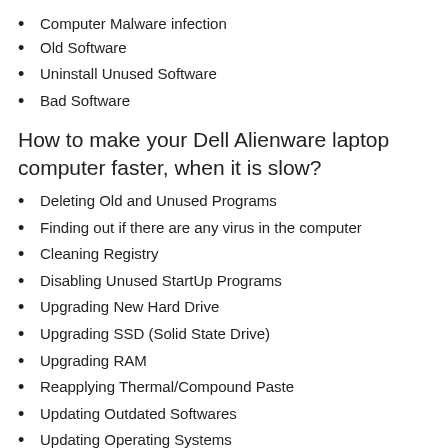Computer Malware infection
Old Software
Uninstall Unused Software
Bad Software
How to make your Dell Alienware laptop computer faster, when it is slow?
Deleting Old and Unused Programs
Finding out if there are any virus in the computer
Cleaning Registry
Disabling Unused StartUp Programs
Upgrading New Hard Drive
Upgrading SSD (Solid State Drive)
Upgrading RAM
Reapplying Thermal/Compound Paste
Updating Outdated Softwares
Updating Operating Systems
Cleaning Junk Files